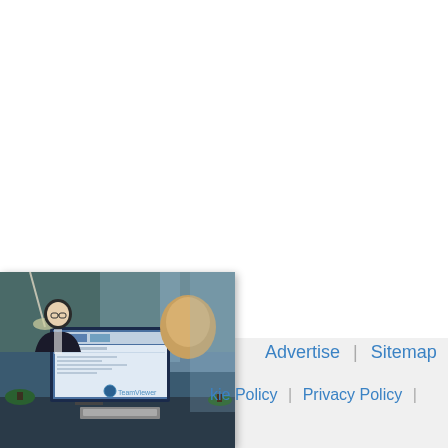[Figure (photo): Office scene with two people at a desk with a computer monitor showing a software interface; a man with glasses and a woman with blonde hair, office plants visible, TeamViewer logo on monitor]
Advertise  |  Sitemap  |  Cookie Policy  |  Privacy Policy  |